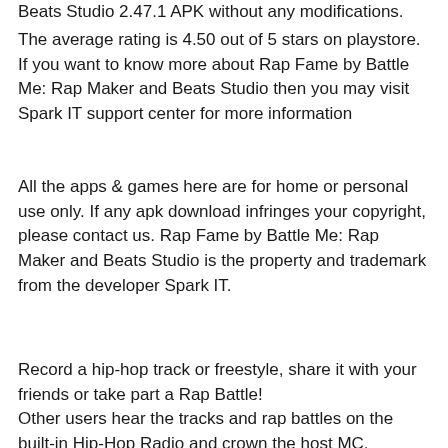Beats Studio 2.47.1 APK without any modifications.
The average rating is 4.50 out of 5 stars on playstore. If you want to know more about Rap Fame by Battle Me: Rap Maker and Beats Studio then you may visit Spark IT support center for more information
All the apps & games here are for home or personal use only. If any apk download infringes your copyright, please contact us. Rap Fame by Battle Me: Rap Maker and Beats Studio is the property and trademark from the developer Spark IT.
Record a hip-hop track or freestyle, share it with your friends or take part a Rap Battle! Other users hear the tracks and rap battles on the built-in Hip-Hop Radio and crown the host MC.